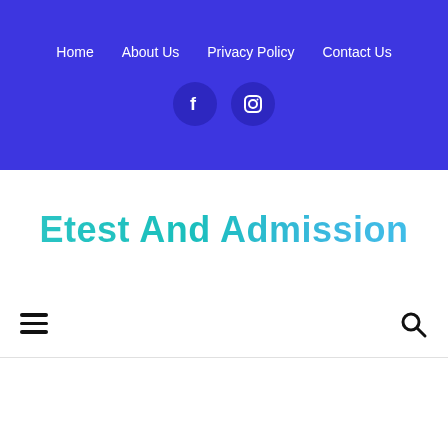Home   About Us   Privacy Policy   Contact Us
[Figure (infographic): Facebook and Instagram social media icons as white symbols inside dark blue circles on blue background]
Etest And Admission
Hamburger menu icon and search icon navigation bar